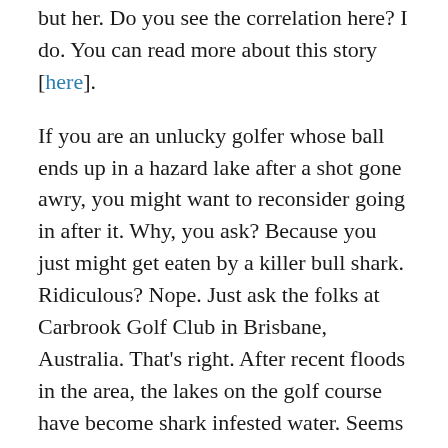but her. Do you see the correlation here? I do. You can read more about this story [here].
If you are an unlucky golfer whose ball ends up in a hazard lake after a shot gone awry, you might want to reconsider going in after it. Why, you ask? Because you just might get eaten by a killer bull shark. Ridiculous? Nope. Just ask the folks at Carbrook Golf Club in Brisbane, Australia. That's right. After recent floods in the area, the lakes on the golf course have become shark infested water. Seems the shark population in Australia is taking this war on humans very serious. They are expanding the scope of their killing spree to include golfers. You can read more about this story [here].